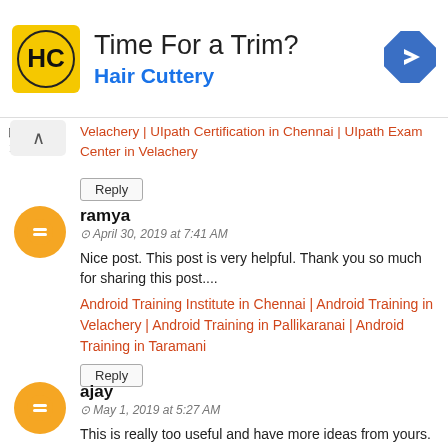[Figure (other): Advertisement banner for Hair Cuttery. Shows HC logo in yellow square, text 'Time For a Trim?' and 'Hair Cuttery' in blue, and a blue diamond directional sign icon on the right.]
Velachery | UIpath Certification in Chennai | UIpath Exam Center in Velachery
Reply
ramya
April 30, 2019 at 7:41 AM
Nice post. This post is very helpful. Thank you so much for sharing this post....
Android Training Institute in Chennai | Android Training in Velachery | Android Training in Pallikaranai | Android Training in Taramani
Reply
ajay
May 1, 2019 at 5:27 AM
This is really too useful and have more ideas from yours. If you have any other choice for ...